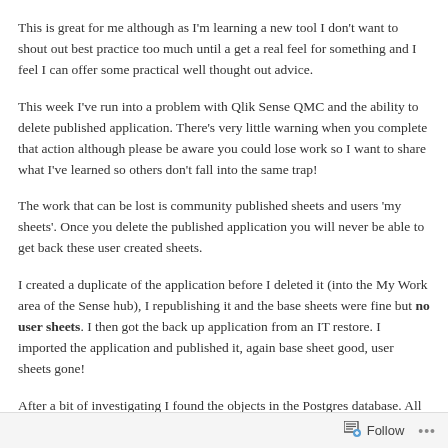This is great for me although as I'm learning a new tool I don't want to shout out best practice too much until a get a real feel for something and I feel I can offer some practical well thought out advice.
This week I've run into a problem with Qlik Sense QMC and the ability to delete published application. There's very little warning when you complete that action although please be aware you could lose work so I want to share what I've learned so others don't fall into the same trap!
The work that can be lost is community published sheets and users 'my sheets'. Once you delete the published application you will never be able to get back these user created sheets.
I created a duplicate of the application before I deleted it (into the My Work area of the Sense hub), I republishing it and the base sheets were fine but no user sheets. I then got the back up application from an IT restore. I imported the application and published it, again base sheet good, user sheets gone!
After a bit of investigating I found the objects in the Postgres database. All
Follow ···